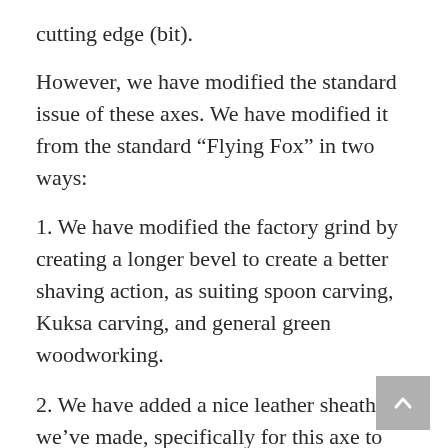cutting edge (bit).
However, we have modified the standard issue of these axes. We have modified it from the standard “Flying Fox” in two ways:
1. We have modified the factory grind by creating a longer bevel to create a better shaving action, as suiting spoon carving, Kuksa carving, and general green woodworking.
2. We have added a nice leather sheath we’ve made, specifically for this axe to protect the edge.
This little axe has the heft to do the serious waste removal, the hardened poll for hitting with a wooden maul or beetle when splitting open stock, a nice balance and handle allowing us in giving different